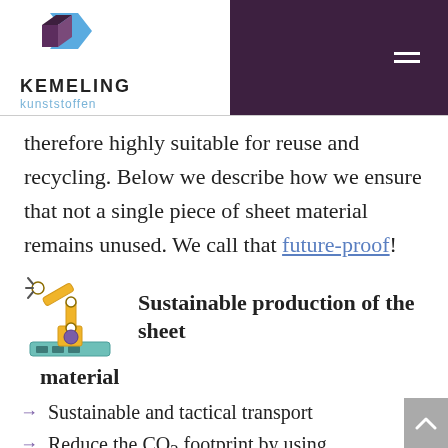KEMELING kunststoffen
therefore highly suitable for reuse and recycling. Below we describe how we ensure that not a single piece of sheet material remains unused. We call that future-proof!
Sustainable production of the sheet material
Sustainable and tactical transport
Reduce the CO₂ footprint by using